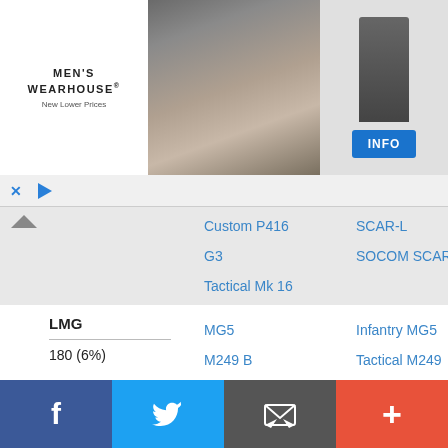[Figure (screenshot): Men's Wearhouse advertisement banner with couple in formal wear and a man in suit, with INFO button]
| Category | Items | Variants |
| --- | --- | --- |
|  | Custom P416 | SCAR-L |
|  | G3 | SOCOM SCAR-L |
|  | Tactical Mk 16 |  |
| LMG
180 (6%) | MG5 | Infantry MG5 |
|  | M249 B | Tactical M249 Para |
|  | Military MK46 | Classic M60 |
|  | Military M60 E4 | Black Market M60 E6 |
|  | Classic RPK-74 | Military RPK-74 M |
|  | Black Market | Military L86 |
[Figure (screenshot): Bottom navigation bar with Facebook, Twitter, mail/inbox, and plus buttons]